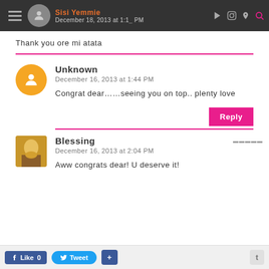Sisi Yemmie — December 18, 2013 at 1:1_ PM
Thank you ore mi atata
Unknown
December 16, 2013 at 1:44 PM
Congrat dear……seeing you on top.. plenty love
Blessing
December 16, 2013 at 2:04 PM
Aww congrats dear! U deserve it!